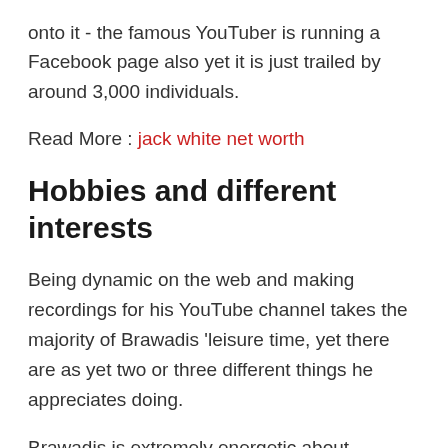onto it - the famous YouTuber is running a Facebook page also yet it is just trailed by around 3,000 individuals.
Read More : jack white net worth
Hobbies and different interests
Being dynamic on the web and making recordings for his YouTube channel takes the majority of Brawadis 'leisure time, yet there are as yet two or three different things he appreciates doing.
Brawadis is extremely energetic about